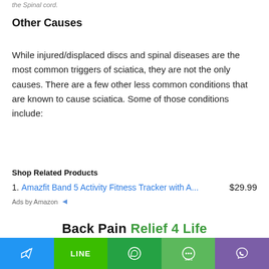the Spinal cord.
Other Causes
While injured/displaced discs and spinal diseases are the most common triggers of sciatica, they are not the only causes. There are a few other less common conditions that are known to cause sciatica. Some of those conditions include:
Shop Related Products
1. Amazfit Band 5 Activity Fitness Tracker with A...   $29.99
Ads by Amazon
[Figure (infographic): Back Pain Relief 4 Life banner advertisement]
[Figure (infographic): Bottom social sharing bar with Telegram, LINE, WhatsApp, SMS, and Viber buttons]